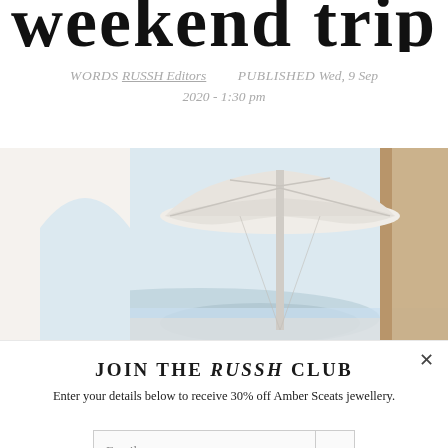weekend trip
WORDS RUSSH Editors   PUBLISHED Wed, 9 Sep 2020 - 1:30 pm
[Figure (photo): Outdoor terrace view through white arched opening with a large white parasol/umbrella, distant blue sea and mountains in the background, warm natural wood framing on the right]
JOIN THE RUSSH CLUB
Enter your details below to receive 30% off Amber Sceats jewellery.
Email